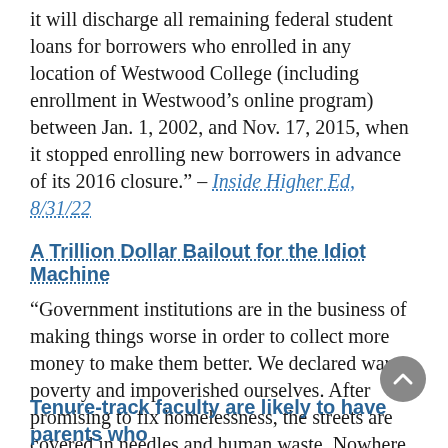it will discharge all remaining federal student loans for borrowers who enrolled in any location of Westwood College (including enrollment in Westwood’s online program) between Jan. 1, 2002, and Nov. 17, 2015, when it stopped enrolling new borrowers in advance of its 2016 closure.” – Inside Higher Ed, 8/31/22
A Trillion Dollar Bailout for the Idiot Machine
“Government institutions are in the business of making things worse in order to collect more money to make them better. We declared war on poverty and impoverished ourselves. After promising to fix homelessness, the streets are covered in needles and human waste. Nowhere is this truer than in education.” – FrontPageMag, 8/31/22
Tenure-track faculty are likely to have parents who